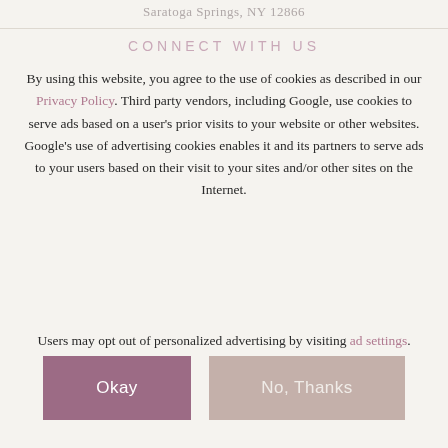Saratoga Springs, NY 12866
CONNECT WITH US
By using this website, you agree to the use of cookies as described in our Privacy Policy. Third party vendors, including Google, use cookies to serve ads based on a user's prior visits to your website or other websites. Google's use of advertising cookies enables it and its partners to serve ads to your users based on their visit to your sites and/or other sites on the Internet.
Users may opt out of personalized advertising by visiting ad settings.